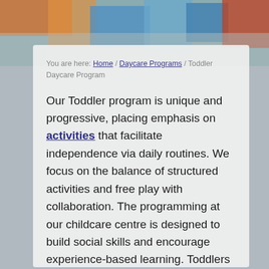[Figure (photo): Colorful top banner image showing classroom or toy objects with orange, blue, and red tones]
You are here: Home / Daycare Programs / Toddler Daycare Program
Our Toddler program is unique and progressive, placing emphasis on activities that facilitate independence via daily routines. We focus on the balance of structured activities and free play with collaboration. The programming at our childcare centre is designed to build social skills and encourage experience-based learning. Toddlers are introduced to our academic program through our High-Scope (theme based), Montessori, Play-